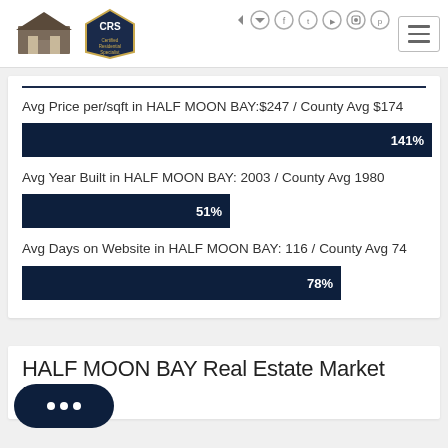Brunker Realty Group / CRS Certified Residential Specialist
Avg Price per/sqft in HALF MOON BAY: $247 / County Avg $174
[Figure (bar-chart): Avg Price per/sqft]
Avg Year Built in HALF MOON BAY: 2003 / County Avg 1980
[Figure (bar-chart): Avg Year Built]
Avg Days on Website in HALF MOON BAY: 116 / County Avg 74
[Figure (bar-chart): Avg Days on Website]
HALF MOON BAY Real Estate Market Health